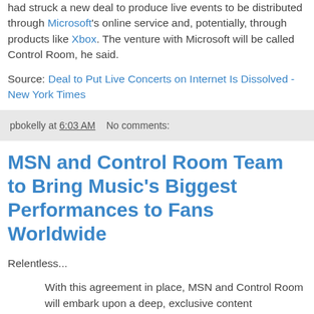had struck a new deal to produce live events to be distributed through Microsoft's online service and, potentially, through products like Xbox. The venture with Microsoft will be called Control Room, he said.
Source: Deal to Put Live Concerts on Internet Is Dissolved - New York Times
pbokelly at 6:03 AM    No comments:
MSN and Control Room Team to Bring Music's Biggest Performances to Fans Worldwide
Relentless...
With this agreement in place, MSN and Control Room will embark upon a deep, exclusive content collaboration, combining Control Room's